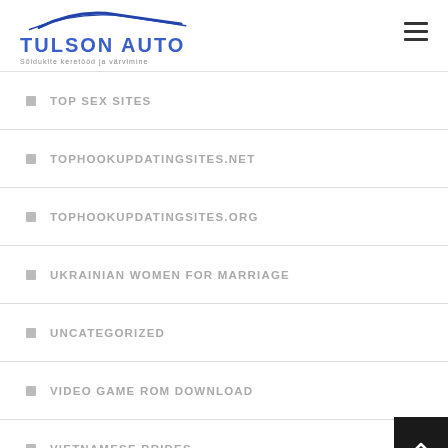Tulson Auto — Sõidukite keretööd ja värvimine
TOP SEX SITES
TOPHOOKUPDATINGSITES.NET
TOPHOOKUPDATINGSITES.ORG
UKRAINIAN WOMEN FOR MARRIAGE
UNCATEGORIZED
VIDEO GAME ROM DOWNLOAD
VIETNAMESE BRIDES
WEBSITES